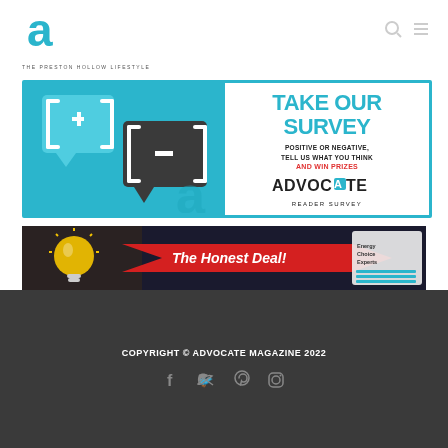[Figure (logo): Advocate Magazine logo - stylized letter 'a' in teal/cyan color with text 'THE PRESTON HOLLOW LIFESTYLE' below]
[Figure (infographic): Take Our Survey banner advertisement with teal background, speech bubbles with [+] and [-] symbols, text: TAKE OUR SURVEY / POSITIVE OR NEGATIVE, TELL US WHAT YOU THINK / AND WIN PRIZES / ADVOCATE READER SURVEY]
[Figure (infographic): The Honest Deal advertisement banner with yellow lightbulb, red arrow, and Energy Choice Experts badge]
COPYRIGHT © ADVOCATE MAGAZINE 2022